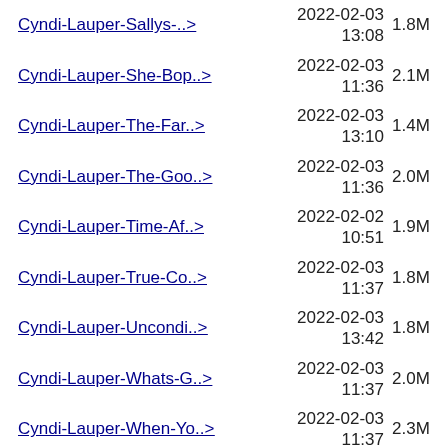Cyndi-Lauper-Sallys-..> 2022-02-03 13:08 1.8M
Cyndi-Lauper-She-Bop..> 2022-02-03 11:36 2.1M
Cyndi-Lauper-The-Far..> 2022-02-03 13:10 1.4M
Cyndi-Lauper-The-Goo..> 2022-02-03 11:36 2.0M
Cyndi-Lauper-Time-Af..> 2022-02-02 10:51 1.9M
Cyndi-Lauper-True-Co..> 2022-02-03 11:37 1.8M
Cyndi-Lauper-Uncondi..> 2022-02-03 13:42 1.8M
Cyndi-Lauper-Whats-G..> 2022-02-03 11:37 2.0M
Cyndi-Lauper-When-Yo..> 2022-02-03 11:37 2.3M
Cyndi-Lauper-Who-Let..> 2022-02-03 11:38 2.1M
Cyndi-Lauper-You-Don..> 2022-02-03 13:43 1.9M
2022-02-14